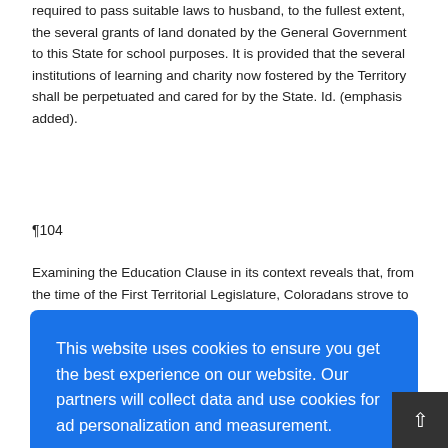required to pass suitable laws to husband, to the fullest extent, the several grants of land donated by the General Government to this State for school purposes. It is provided that the several institutions of learning and charity now fostered by the Territory shall be perpetuated and cared for by the State. Id. (emphasis added).
¶104
Examining the Education Clause in its context reveals that, from the time of the First Territorial Legislature, Coloradans strove to provide a system
aining
system of public education that consistently affords Colorado children
[Figure (screenshot): Cookie consent overlay on blue background with text: 'This website uses cookies to ensure you get the best experience on our website. Our partners will collect data and use cookies for ad personalization and measurement.' and a link 'Learn how we and our partners collect and use data.' with an OK button below.]